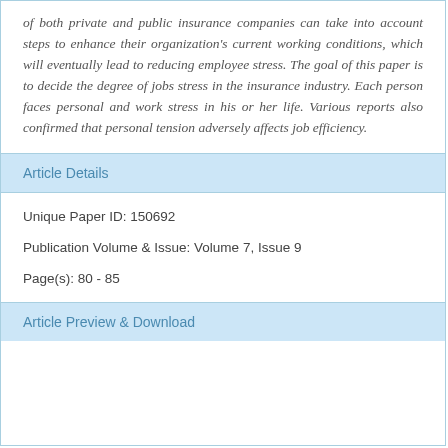of both private and public insurance companies can take into account steps to enhance their organization's current working conditions, which will eventually lead to reducing employee stress. The goal of this paper is to decide the degree of jobs stress in the insurance industry. Each person faces personal and work stress in his or her life. Various reports also confirmed that personal tension adversely affects job efficiency.
Article Details
Unique Paper ID: 150692
Publication Volume & Issue: Volume 7, Issue 9
Page(s): 80 - 85
Article Preview & Download